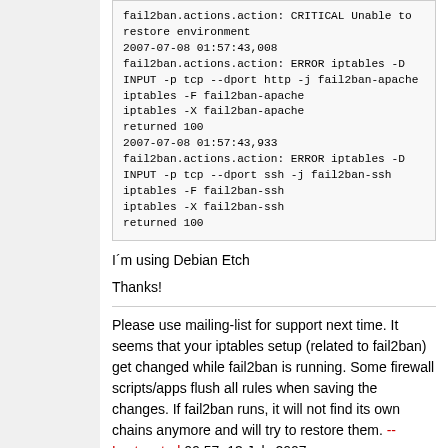fail2ban.actions.action: CRITICAL Unable to restore environment
2007-07-08 01:57:43,008 fail2ban.actions.action: ERROR iptables -D INPUT -p tcp --dport http -j fail2ban-apache
iptables -F fail2ban-apache
iptables -X fail2ban-apache
returned 100
2007-07-08 01:57:43,933 fail2ban.actions.action: ERROR iptables -D INPUT -p tcp --dport ssh -j fail2ban-ssh
iptables -F fail2ban-ssh
iptables -X fail2ban-ssh
returned 100
I´m using Debian Etch
Thanks!
Please use mailing-list for support next time. It seems that your iptables setup (related to fail2ban) get changed while fail2ban is running. Some firewall scripts/apps flush all rules when saving the changes. If fail2ban runs, it will not find its own chains anymore and will try to restore them. --Lostcontrol 09:57, 13 July 2007